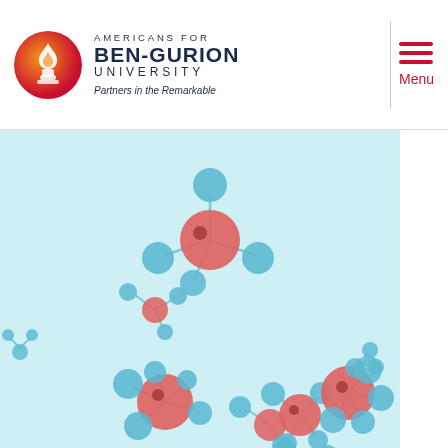[Figure (logo): Americans for Ben-Gurion University logo with flame icon in orange circle, text reading AMERICANS FOR BEN-GURION UNIVERSITY Partners in the Remarkable]
Menu
[Figure (illustration): Scientific illustration of molecular structures on a light blue background, showing red and blue spheres connected by bonds representing water or similar molecules in various configurations]